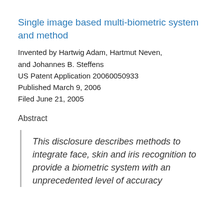Single image based multi-biometric system and method
Invented by Hartwig Adam, Hartmut Neven, and Johannes B. Steffens
US Patent Application 20060050933
Published March 9, 2006
Filed June 21, 2005
Abstract
This disclosure describes methods to integrate face, skin and iris recognition to provide a biometric system with an unprecedented level of accuracy